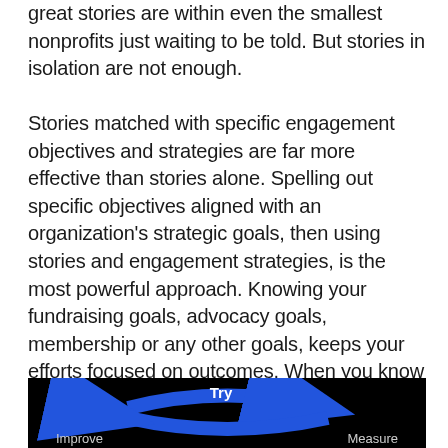great stories are within even the smallest nonprofits just waiting to be told. But stories in isolation are not enough.
Stories matched with specific engagement objectives and strategies are far more effective than stories alone. Spelling out specific objectives aligned with an organization's strategic goals, then using stories and engagement strategies, is the most powerful approach. Knowing your fundraising goals, advocacy goals, membership or any other goals, keeps your efforts focused on outcomes. When you know what your goals are, you are crafting stories with a purpose and with a goal in mind.
[Figure (flowchart): Circular diagram on black background showing a cycle with arrows labeled Try, Measure, and Improve]